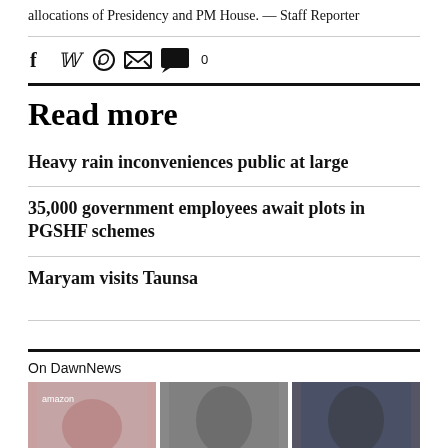allocations of Presidency and PM House. — Staff Reporter
[Figure (other): Social sharing icons: Facebook, Twitter, WhatsApp, Email, Comment (0)]
Read more
Heavy rain inconveniences public at large
35,000 government employees await plots in PGSHF schemes
Maryam visits Taunsa
On DawnNews
[Figure (photo): Three thumbnail photos in a row for DawnNews section]